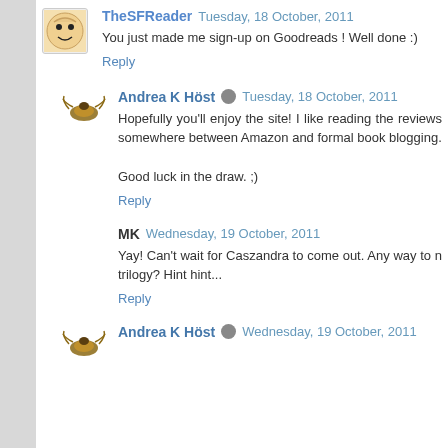TheSFReader  Tuesday, 18 October, 2011
You just made me sign-up on Goodreads ! Well done :)
Reply
Andrea K Höst  Tuesday, 18 October, 2011
Hopefully you'll enjoy the site! I like reading the reviews somewhere between Amazon and formal book blogging.
Good luck in the draw. ;)
Reply
MK  Wednesday, 19 October, 2011
Yay! Can't wait for Caszandra to come out. Any way to n trilogy? Hint hint...
Reply
Andrea K Höst  Wednesday, 19 October, 2011